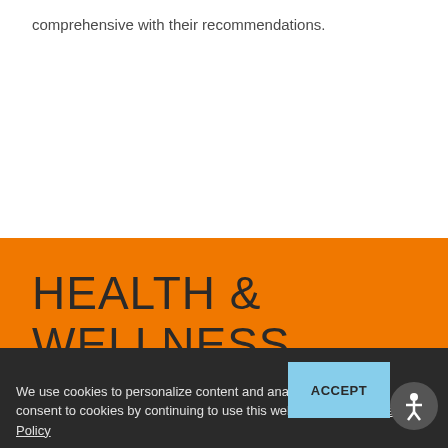comprehensive with their recommendations.
HEALTH & WELLNESS START HERE
REQUEST YOUR APPOINTMENT TODAY
REQUEST AN APPOINTMENT
We use cookies to personalize content and analyze traffic. You consent to cookies by continuing to use this website. View Cookie Policy
ACCEPT